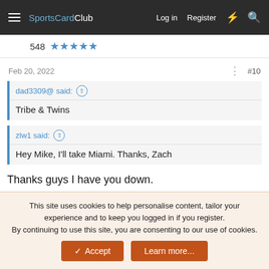SportsCardClub — Log in  Register
548 ★★★★★
Feb 20, 2022  #10
dad3309@ said: ↑
Tribe & Twins
zlw1 said: ↑
Hey Mike, I'll take Miami. Thanks, Zach
Thanks guys I have you down.

Mike
↩ Reply
This site uses cookies to help personalise content, tailor your experience and to keep you logged in if you register.
By continuing to use this site, you are consenting to our use of cookies.